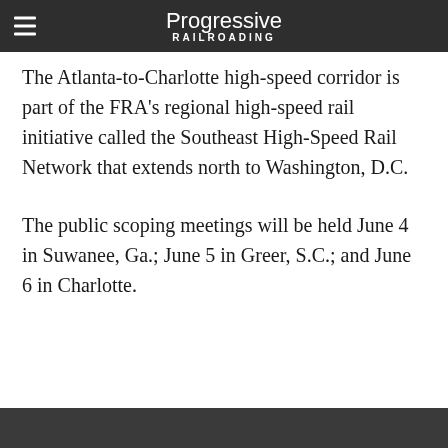Progressive Railroading
The Atlanta-to-Charlotte high-speed corridor is part of the FRA's regional high-speed rail initiative called the Southeast High-Speed Rail Network that extends north to Washington, D.C.
The public scoping meetings will be held June 4 in Suwanee, Ga.; June 5 in Greer, S.C.; and June 6 in Charlotte.